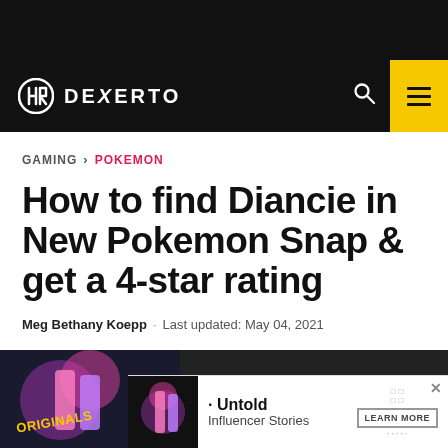[Figure (logo): Dexerto website logo and navigation bar with black background, search icon, and yellow hamburger menu button]
GAMING > POKEMON
How to find Diancie in New Pokemon Snap & get a 4-star rating
Meg Bethany Koepp . Last updated: May 04, 2021
[Figure (screenshot): Bottom portion of article page showing a New Pokemon Snap image label and an advertisement overlay for Untold Influencer Stories with a Learn More button]